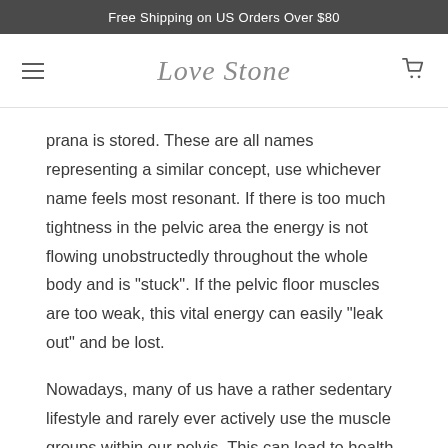Free Shipping on US Orders Over $80
[Figure (logo): Love Stone script logo with hamburger menu icon on left and shopping cart icon on right]
prana is stored. These are all names representing a similar concept, use whichever name feels most resonant. If there is too much tightness in the pelvic area the energy is not flowing unobstructedly throughout the whole body and is "stuck". If the pelvic floor muscles are too weak, this vital energy can easily "leak out" and be lost.
Nowadays, many of us have a rather sedentary lifestyle and rarely ever actively use the muscle groups within our pelvis. This can lead to health issues with the reproductive organs such as painful